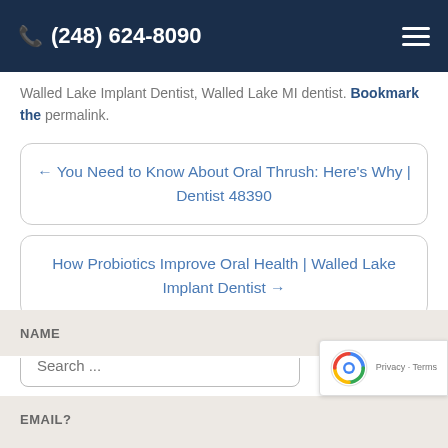(248) 624-8090
Walled Lake Implant Dentist, Walled Lake MI dentist. Bookmark the permalink.
← You Need to Know About Oral Thrush: Here's Why | Dentist 48390
How Probiotics Improve Oral Health | Walled Lake Implant Dentist →
Search ...
NAME
EMAIL?